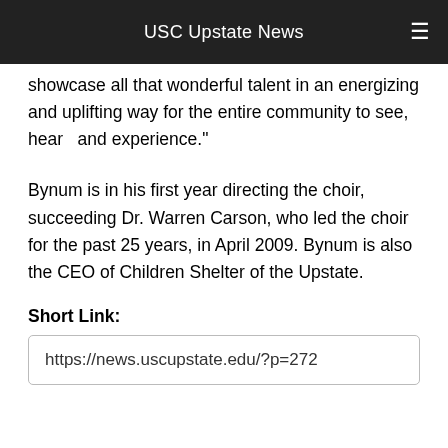USC Upstate News
showcase all that wonderful talent in an energizing and uplifting way for the entire community to see, hear  and experience."
Bynum is in his first year directing the choir, succeeding Dr. Warren Carson, who led the choir for the past 25 years, in April 2009. Bynum is also the CEO of Children Shelter of the Upstate.
Short Link:
https://news.uscupstate.edu/?p=272